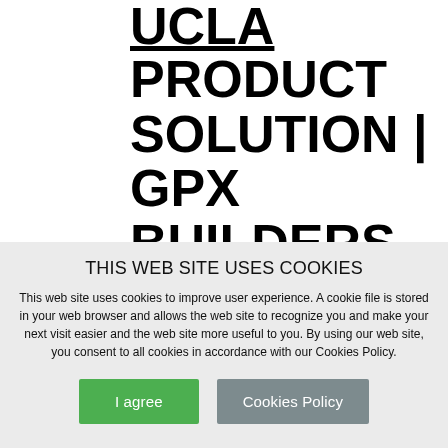UCLA PRODUCT SOLUTION | GPX BUILDERS SERIES DOORS BY SAFELIRST
THIS WEB SITE USES COOKIES
This web site uses cookies to improve user experience. A cookie file is stored in your web browser and allows the web site to recognize you and make your next visit easier and the web site more useful to you. By using our web site, you consent to all cookies in accordance with our Cookies Policy.